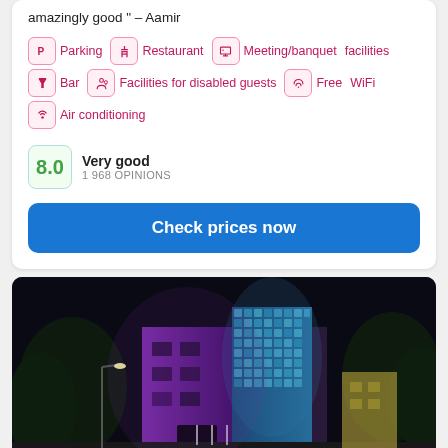amazingly good " - Aamir
Parking
Restaurant
Meeting/banquet facilities
Bar
Facilities for disabled guests
Free WiFi
Air conditioning
Very good
1 968 OPINIONS
Check prices now
[Figure (photo): Night photo of a hotel building with purple/violet lighting on the facade and a decorative mosaic wall panel lit in blue/teal light, surrounded by trees, taken at night.]